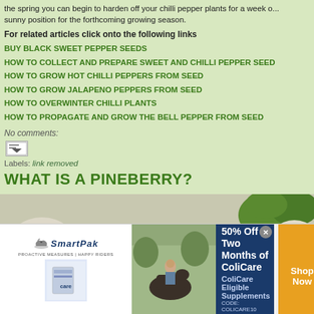the spring you can begin to harden off your chilli pepper plants for a week or sunny position for the forthcoming growing season.
For related articles click onto the following links
BUY BLACK SWEET PEPPER SEEDS
HOW TO COLLECT AND PREPARE SWEET AND CHILLI PEPPER SEEDS
HOW TO GROW HOT CHILLI PEPPERS FROM SEED
HOW TO GROW JALAPENO PEPPERS FROM SEED
HOW TO OVERWINTER CHILLI PLANTS
HOW TO PROPAGATE AND GROW THE BELL PEPPER FROM SEED
No comments:
Labels: link removed
WHAT IS A PINEBERRY?
[Figure (photo): Photo of pineberries - white strawberry-like fruits with red seeds, shown up close]
[Figure (photo): SmartPak advertisement banner: 50% Off Two Months of ColiCare, ColiCare Eligible Supplements, CODE: COLICARE10, Shop Now]